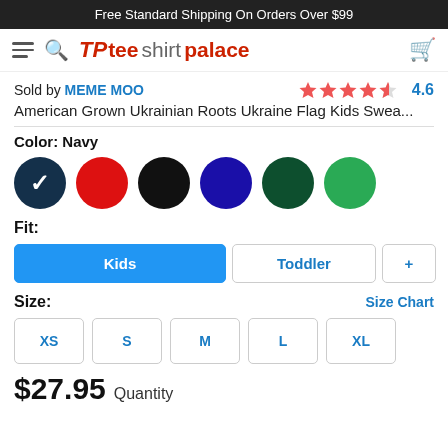Free Standard Shipping On Orders Over $99
[Figure (logo): Tee Shirt Palace logo with hamburger menu, search icon, and cart icon in navigation bar]
Sold by MEME MOO — 4.6 stars
American Grown Ukrainian Roots Ukraine Flag Kids Swea...
Color: Navy
Fit:
Kids | Toddler | +
Size: Size Chart
XS | S | M | L | XL
$27.95 Quantity